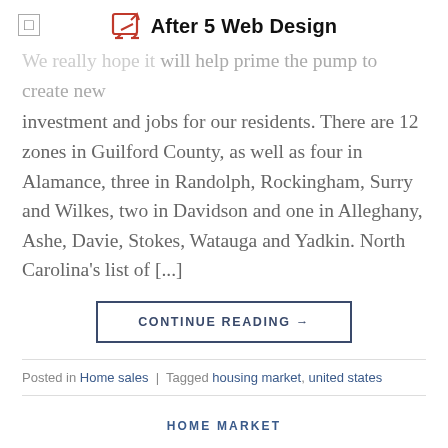After 5 Web Design
We really hope it will help prime the pump to create new investment and jobs for our residents. There are 12 zones in Guilford County, as well as four in Alamance, three in Randolph, Rockingham, Surry and Wilkes, two in Davidson and one in Alleghany, Ashe, Davie, Stokes, Watauga and Yadkin. North Carolina's list of [...]
CONTINUE READING →
Posted in Home sales | Tagged housing market, united states
HOME MARKET
Deep cleaning your home
POSTED ON FEBRUARY 15, 2022 BY ERIKA E. SANDOVAL